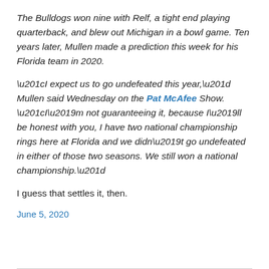The Bulldogs won nine with Relf, a tight end playing quarterback, and blew out Michigan in a bowl game. Ten years later, Mullen made a prediction this week for his Florida team in 2020.
“I expect us to go undefeated this year,” Mullen said Wednesday on the Pat McAfee Show. “I’m not guaranteeing it, because I’ll be honest with you, I have two national championship rings here at Florida and we didn’t go undefeated in either of those two seasons. We still won a national championship.”
I guess that settles it, then.
June 5, 2020